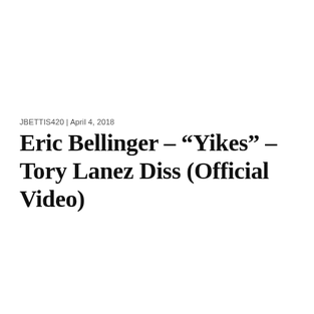JBETTIS420 | April 4, 2018
Eric Bellinger – “Yikes” – Tory Lanez Diss (Official Video)
[Figure (other): Broken image placeholder with a MIXTAPES category label overlaid on a horizontal strip/thumbnail area]